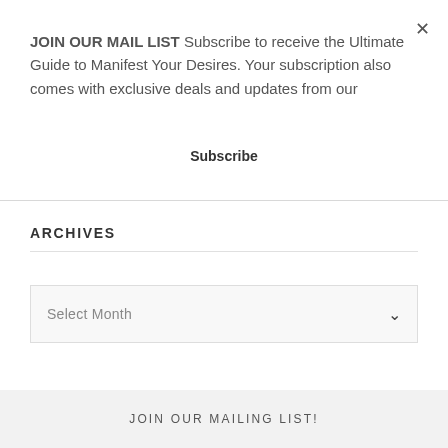JOIN OUR MAIL LIST Subscribe to receive the Ultimate Guide to Manifest Your Desires. Your subscription also comes with exclusive deals and updates from our
Subscribe
ARCHIVES
Select Month
JOIN OUR MAILING LIST!